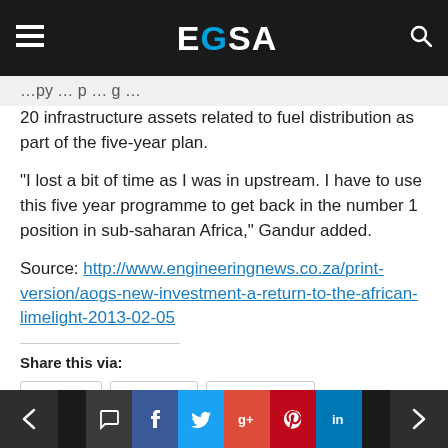EGSA
20 infrastructure assets related to fuel distribution as part of the five-year plan.
“I lost a bit of time as I was in upstream. I have to use this five year programme to get back in the number 1 position in sub-saharan Africa,” Gandur added.
Source: http://www.engineeringnews.co.za/print-version/aogs-new-investment-a-return-to-the-african-limelight-2013-02-05
Share this via:
< Email Twitter Facebook LinkedIn More >